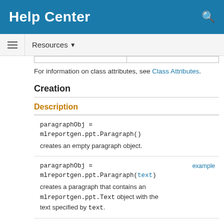Help Center
Resources ▾
For information on class attributes, see Class Attributes.
Creation
Description
paragraphObj = mlreportgen.ppt.Paragraph()
creates an empty paragraph object.
example
paragraphObj = mlreportgen.ppt.Paragraph(text)
creates a paragraph that contains an mlreportgen.ppt.Text object with the text specified by text.
paragraphObj = mlreportgen.ppt.Paragraph(pptElem
creates a paragraph that contains the text,